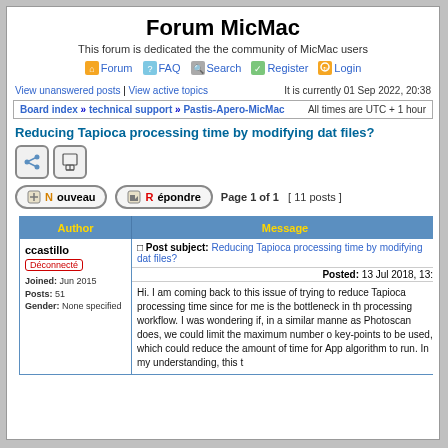Forum MicMac
This forum is dedicated the the community of MicMac users
Forum | FAQ | Search | Register | Login
View unanswered posts | View active topics   It is currently 01 Sep 2022, 20:38
Board index » technical support » Pastis-Apero-MicMac  All times are UTC + 1 hour
Reducing Tapioca processing time by modifying dat files?
Nouveau  Répondre  Page 1 of 1  [ 11 posts ]
| Author | Message |
| --- | --- |
| ccastillo
Déconnecté
Joined: Jun 2015
Posts: 51
Gender: None specified | Post subject: Reducing Tapioca processing time by modifying dat files?
Posted: 13 Jul 2018, 13:
Hi. I am coming back to this issue of trying to reduce Tapioca processing time since for me is the bottleneck in the processing workflow. I was wondering if, in a similar manner as Photoscan does, we could limit the maximum number of key-points to be used, which could reduce the amount of time for App algorithm to run. In my understanding, this... |